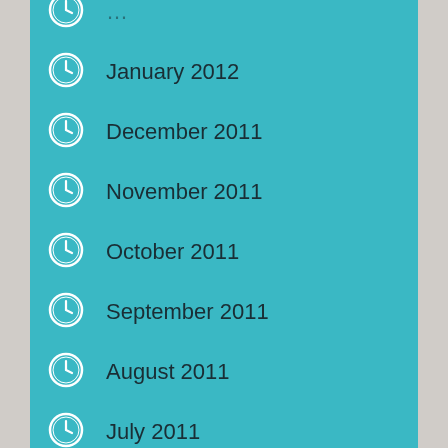January 2012
December 2011
November 2011
October 2011
September 2011
August 2011
July 2011
May 2011
April 2011
March 2011
February 2011